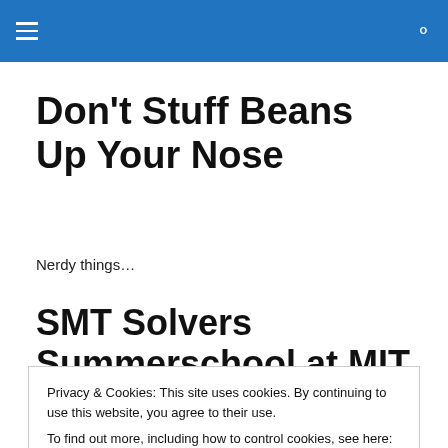Don't Stuff Beans Up Your Nose
Nerdy things…
SMT Solvers Summerschool at MIT
Privacy & Cookies: This site uses cookies. By continuing to use this website, you agree to their use.
To find out more, including how to control cookies, see here: Cookie Policy